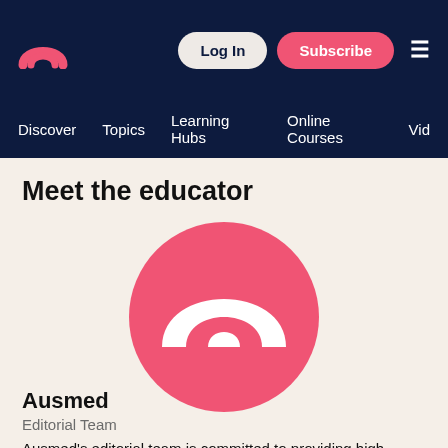[Figure (screenshot): Ausmed website navigation bar with logo, Log In button, Subscribe button, and hamburger menu on dark navy background]
Discover   Topics   Learning Hubs   Online Courses   Vid
Meet the educator
[Figure (logo): Ausmed logo: pink circle containing white arch/rainbow icon]
Ausmed
Editorial Team
Ausmed's editorial team is committed to providing high-